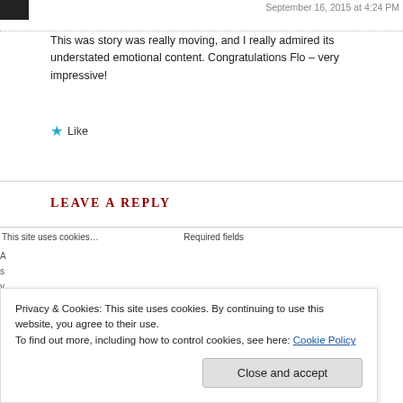September 16, 2015 at 4:24 PM
This was story was really moving, and I really admired its understated emotional content. Congratulations Flo – very impressive!
★ Like
REPLY
LEAVE A REPLY
Privacy & Cookies: This site uses cookies. By continuing to use this website, you agree to their use. To find out more, including how to control cookies, see here: Cookie Policy
Close and accept